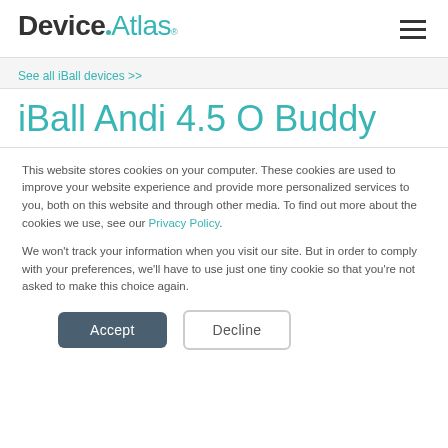DeviceAtlas
See all iBall devices >>
iBall Andi 4.5 O Buddy
This website stores cookies on your computer. These cookies are used to improve your website experience and provide more personalized services to you, both on this website and through other media. To find out more about the cookies we use, see our Privacy Policy.
We won't track your information when you visit our site. But in order to comply with your preferences, we'll have to use just one tiny cookie so that you're not asked to make this choice again.
Accept   Decline